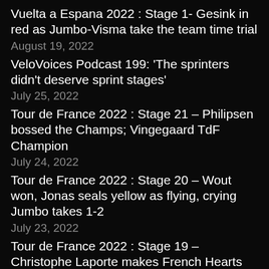Vuelta a Espana 2022 : Stage 1- Gesink in red as Jumbo-Visma take the team time trial
August 19, 2022
VeloVoices Podcast 199: 'The sprinters didn't deserve sprint stages'
July 25, 2022
Tour de France 2022 : Stage 21 – Philipsen bossed the Champs; Vingegaard TdF Champion
July 24, 2022
Tour de France 2022 : Stage 20 – Wout won, Jonas seals yellow as flying, crying Jumbo takes 1-2
July 23, 2022
Tour de France 2022 : Stage 19 – Christophe Laporte makes French Hearts Sing
July 22, 2022
Tour de France 2022 : Stage 18 – Final fireworks on Hautacam
July 21, 2022